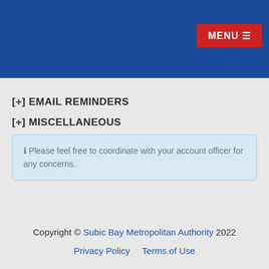MENU
[+] EMAIL REMINDERS
[+] MISCELLANEOUS
ℹ Please feel free to coordinate with your account officer for any concerns.
Copyright © Subic Bay Metropolitan Authority 2022  Privacy Policy  Terms of Use